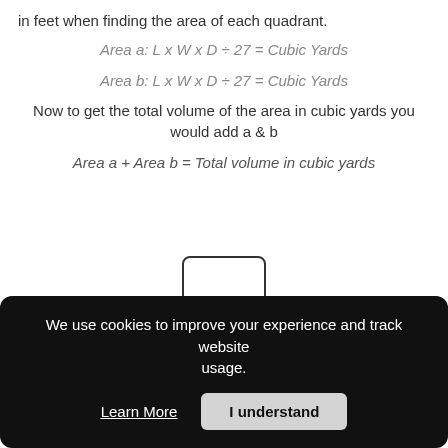in feet when finding the area of each quadrant.
Now to get the total volume of the area in cubic yards you would add a & b
[Figure (illustration): Partial view of a rounded rectangle shape above the cookie consent banner]
We use cookies to improve your experience and track website usage.
Learn More   I understand